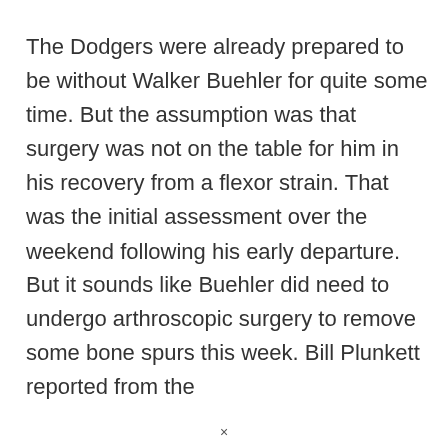The Dodgers were already prepared to be without Walker Buehler for quite some time. But the assumption was that surgery was not on the table for him in his recovery from a flexor strain. That was the initial assessment over the weekend following his early departure.
But it sounds like Buehler did need to undergo arthroscopic surgery to remove some bone spurs this week. Bill Plunkett reported from the